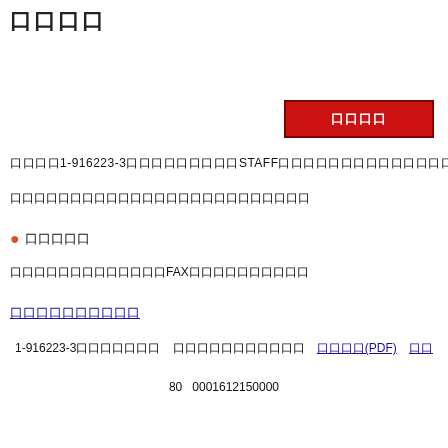口口口口
[Figure (other): Red button with Japanese text]
口口口口1-916223-3口口口口口口口口口STAFFロロロロロロロロロロロロロロロロロロロ
口口口口口口口口口口口口口口口口口口口口口
●口口口口口
口口口口口口口口口口口口口FAX口口口口口口口口
口口口口口口口口口口 (link)
|  |  |  |  |
| --- | --- | --- | --- |
| 1-916223-3口口口口口口口 | 口口口口口口口口口口口 | 口口口口(PDF) | 口口 |
|  | 80 | 0001612150000 |  |